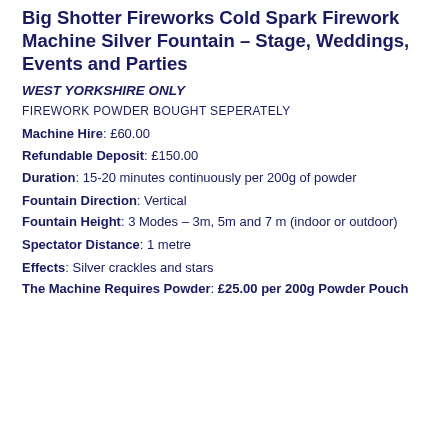Big Shotter Fireworks Cold Spark Firework Machine Silver Fountain – Stage, Weddings, Events and Parties
WEST YORKSHIRE ONLY
FIREWORK POWDER BOUGHT SEPERATELY
Machine Hire: £60.00
Refundable Deposit: £150.00
Duration: 15-20 minutes continuously per 200g of powder
Fountain Direction: Vertical
Fountain Height: 3 Modes – 3m, 5m and 7 m (indoor or outdoor)
Spectator Distance: 1 metre
Effects: Silver crackles and stars
The Machine Requires Powder: £25.00 per 200g Powder Pouch